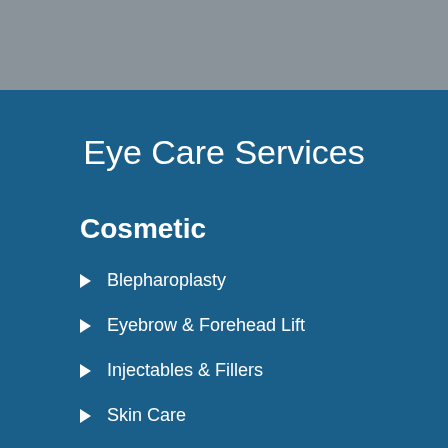Eye Care Services
Cosmetic
Blepharoplasty
Eyebrow & Forehead Lift
Injectables & Fillers
Skin Care